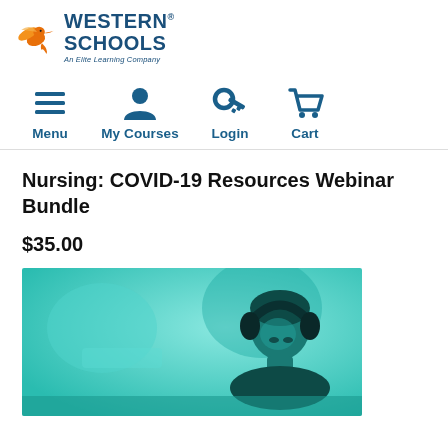[Figure (logo): Western Schools logo: orange hummingbird above 'WESTERN SCHOOLS' in dark blue bold, 'An Elite Learning Company' in italic below]
[Figure (infographic): Navigation bar with four items: Menu (hamburger icon), My Courses (person icon), Login (key icon), Cart (shopping cart icon), all in dark blue]
Nursing: COVID-19 Resources Webinar Bundle
$35.00
[Figure (photo): Woman wearing headphones, looking down, with teal/cyan color overlay, blurred office background]